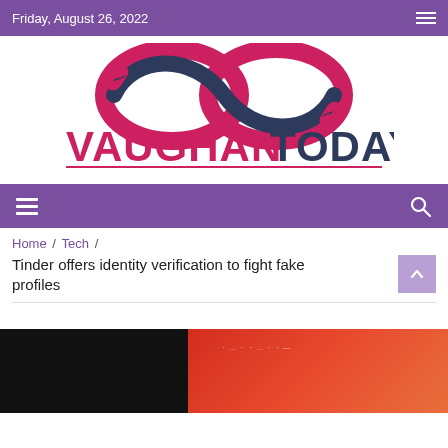Friday, August 26, 2022
[Figure (logo): Vaughan Today logo with infinity symbol made of two hands, text VAUGHAN in pink and TODAY in dark navy, with a red underline]
Home / Tech / Tinder offers identity verification to fight fake profiles
[Figure (photo): Partial bottom image showing a dark background with an orange/red phone screen interface visible]